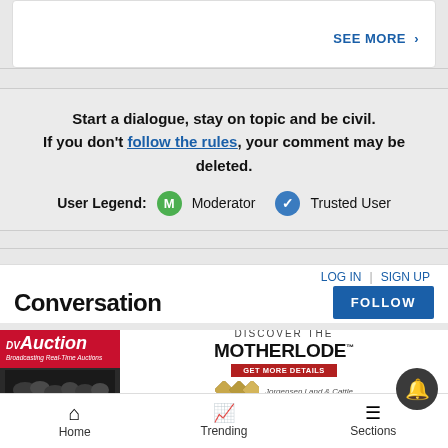SEE MORE ›
Start a dialogue, stay on topic and be civil. If you don't follow the rules, your comment may be deleted.
User Legend: M Moderator ✓ Trusted User
LOG IN | SIGN UP
Conversation
[Figure (screenshot): DVAuction advertisement banner: Discover the Motherlode, Get More Details, Jorgensen Land & Cattle]
Home   Trending   Sections